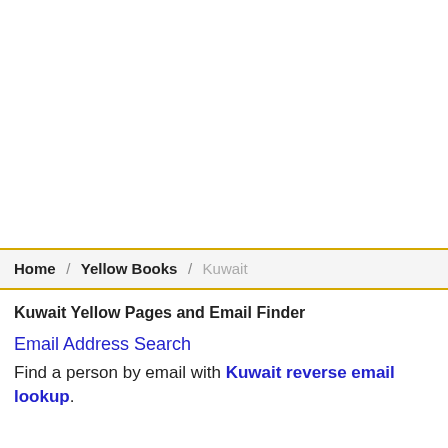Home / Yellow Books / Kuwait
Kuwait Yellow Pages and Email Finder
Email Address Search
Find a person by email with Kuwait reverse email lookup.